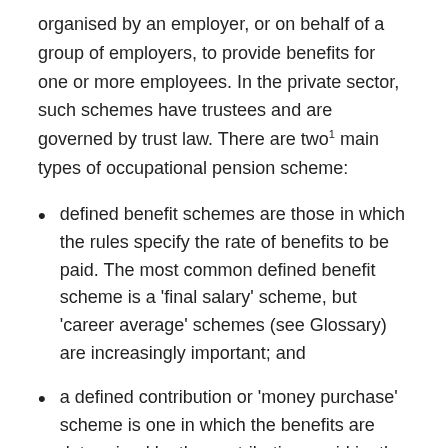organised by an employer, or on behalf of a group of employers, to provide benefits for one or more employees. In the private sector, such schemes have trustees and are governed by trust law. There are two¹ main types of occupational pension scheme:
defined benefit schemes are those in which the rules specify the rate of benefits to be paid. The most common defined benefit scheme is a 'final salary' scheme, but 'career average' schemes (see Glossary) are increasingly important; and
a defined contribution or 'money purchase' scheme is one in which the benefits are determined by the contributions paid in, the